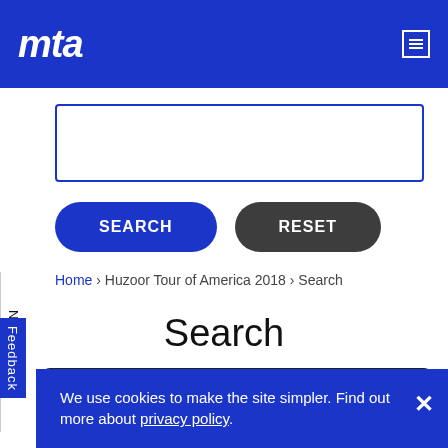[Figure (logo): MTA logo in white italic text on blue header bar]
[Figure (screenshot): Search input field with blue border]
SEARCH  RESET
Home › Huzoor Tour of America 2018 › Search
Search
Filter ▶
We use cookies to make the site simpler. Find out more about privacy policy.
Newsletter
Feedback